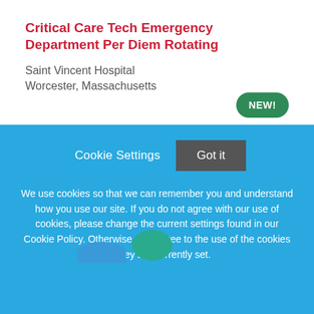Critical Care Tech Emergency Department Per Diem Rotating
Saint Vincent Hospital
Worcester, Massachusetts
[Figure (other): Green 'NEW!' badge pill button]
[Figure (other): Cookie consent overlay banner with blue background, Cookie Settings and Got it buttons, and cookie policy text]
Cookie Settings
Got it
We use cookies so that we can remember you and understand how you use our site. If you do not agree with our use of cookies, please change the current settings found in our Cookie Policy. Otherwise, you agree to the use of the cookies as they are currently set.